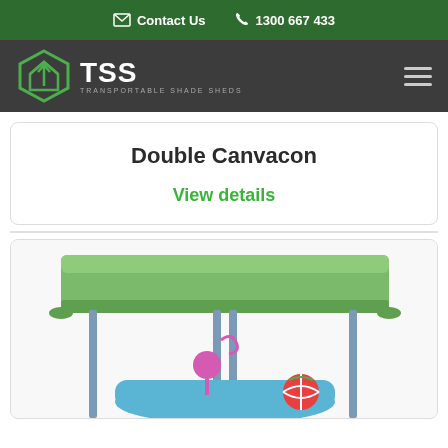Contact Us  1300 667 433
[Figure (logo): TSS Transportable Shade Sheds logo with green hexagonal house icon and white TSS text on dark grey navigation bar]
Double Canvacon
View details
[Figure (photo): Partial photo of a green canopy shade structure with grey poles and colourful children's ride-on toy underneath, on white background]